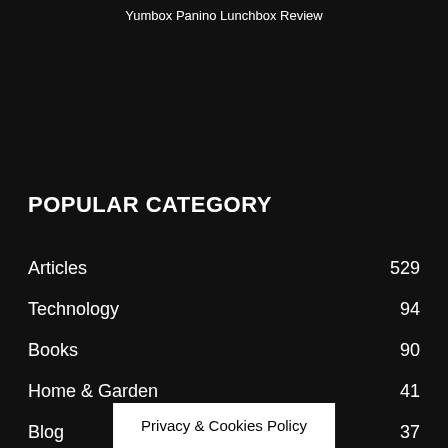Yumbox Panino Lunchbox Review
POPULAR CATEGORY
Articles  529
Technology  94
Books  90
Home & Garden  41
Blog  37
Educational  36
Toys  25
Privacy & Cookies Policy